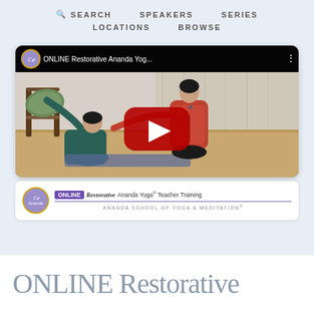SEARCH  SPEAKERS  SERIES  LOCATIONS  BROWSE
[Figure (screenshot): YouTube video thumbnail showing ONLINE Restorative Ananda Yoga Teacher Training. Two women doing yoga, one bending toward a green cushion on a chair, instructor in colorful top. Red YouTube play button overlay. Channel: Ananda School of Yoga & Meditation.]
ONLINE Restorative Ananda Yoga® Teacher Training — ANANDA SCHOOL OF YOGA & MEDITATION®
ONLINE Restorative